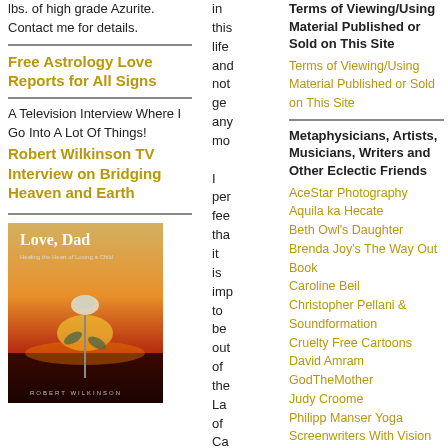lbs. of high grade Azurite. Contact me for details.
Free Astrology Love Reports for All Signs
A Television Interview Where I Go Into A Lot Of Things!
Robert Wilkinson TV Interview on Bridging Heaven and Earth
[Figure (photo): Book cover of 'Love, Dad: Healing the Heart of Losing a Child' by Robert Wilkinson, showing a rose against a sunset background]
in this life and not ge any mo I per fee tha it is imp to be out of the La of Ca and
Terms of Viewing/Using Material Published or Sold on This Site
Terms of Viewing/Using Material Published or Sold on This Site
Metaphysicians, Artists, Musicians, Writers and Other Eclectic Friends
AceStar Photography
Aquila ka Hecate
Beth Owl's Daughter
Brenda Joy's The Way Out Book
Caroline Beil
Christopher Pellani & Soundformation
Cruelty Free Cartoons
David Amram
GodTheMother
Judy Croome
Philipp Manser Yoga
Screenwriters With Vision
Turn Left At The Bridge
Vaugel Sculpture Studio
Vicki Forman
Your Enchanted Gardener
Progressive Transcultural Groups
Imagine Peace
Network of Spiritual Progressives
Pathways to Peace